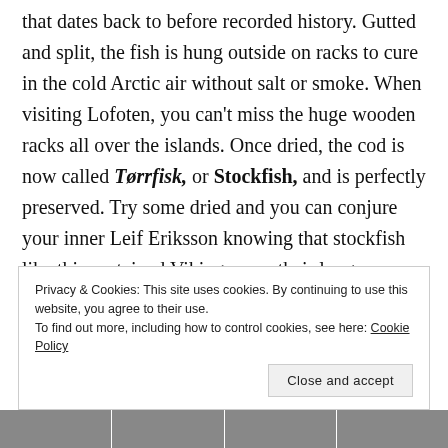that dates back to before recorded history. Gutted and split, the fish is hung outside on racks to cure in the cold Arctic air without salt or smoke. When visiting Lofoten, you can't miss the huge wooden racks all over the islands. Once dried, the cod is now called Tørrfisk, or Stockfish, and is perfectly preserved. Try some dried and you can conjure your inner Leif Eriksson knowing that stockfish like this sustained Vikings over their long sea journeys. When dry, it has a fibrous jerky texture and is an acceptable snack after your hike and is not as
Privacy & Cookies: This site uses cookies. By continuing to use this website, you agree to their use. To find out more, including how to control cookies, see here: Cookie Policy
Close and accept
[Figure (photo): Strip of four thumbnail images at the bottom of the page]